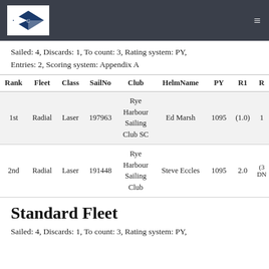[Sailing club logo and navigation]
Sailed: 4, Discards: 1, To count: 3, Rating system: PY, Entries: 2, Scoring system: Appendix A
| Rank | Fleet | Class | SailNo | Club | HelmName | PY | R1 |
| --- | --- | --- | --- | --- | --- | --- | --- |
| 1st | Radial | Laser | 197963 | Rye Harbour Sailing Club SC | Ed Marsh | 1095 | (1.0) |
| 2nd | Radial | Laser | 191448 | Rye Harbour Sailing Club | Steve Eccles | 1095 | 2.0 |
Standard Fleet
Sailed: 4, Discards: 1, To count: 3, Rating system: PY,